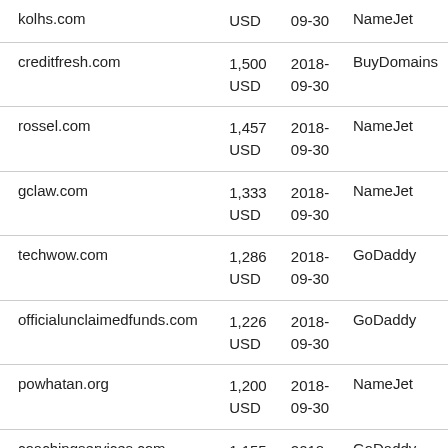| Domain | Price | Date | Venue |
| --- | --- | --- | --- |
| kolhs.com | USD | 09-30 | NameJet |
| creditfresh.com | 1,500
USD | 2018-
09-30 | BuyDomains |
| rossel.com | 1,457
USD | 2018-
09-30 | NameJet |
| gclaw.com | 1,333
USD | 2018-
09-30 | NameJet |
| techwow.com | 1,286
USD | 2018-
09-30 | GoDaddy |
| officialunclaimedfunds.com | 1,226
USD | 2018-
09-30 | GoDaddy |
| powhatan.org | 1,200
USD | 2018-
09-30 | NameJet |
| coachingservices.com | 1,155 | 2018- | GoDaddy |